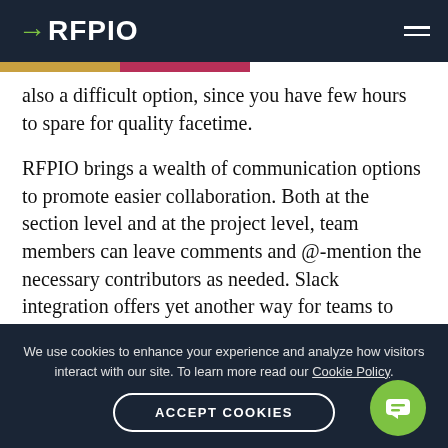RFPIO
also a difficult option, since you have few hours to spare for quality facetime.
RFPIO brings a wealth of communication options to promote easier collaboration. Both at the section level and at the project level, team members can leave comments and @-mention the necessary contributors as needed. Slack integration offers yet another way for teams to work together. You enjoy direct communication on projects with less email and fewer meetings...cheers to that!
We use cookies to enhance your experience and analyze how visitors interact with our site. To learn more read our Cookie Policy.
ACCEPT COOKIES